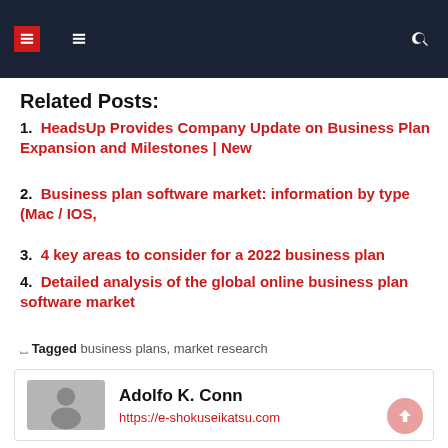Navigation header bar with icons
Related Posts:
HeadsUp Provides Company Update on Business Plan Expansion and Milestones | New
Business plan software market: information by type (Mac / IOS,
4 key areas to consider for a 2022 business plan
Detailed analysis of the global online business plan software market
Tagged business plans, market research
Adolfo K. Conn
https://e-shokuseikatsu.com